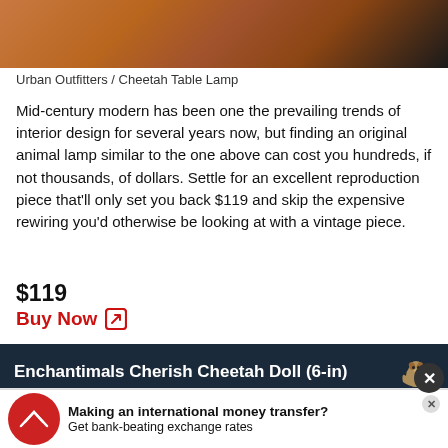[Figure (photo): Close-up photo of a wooden surface with warm brown tones, partially showing what appears to be a table lamp base]
Urban Outfitters / Cheetah Table Lamp
Mid-century modern has been one the prevailing trends of interior design for several years now, but finding an original animal lamp similar to the one above can cost you hundreds, if not thousands, of dollars. Settle for an excellent reproduction piece that'll only set you back $119 and skip the expensive rewiring you'd otherwise be looking at with a vintage piece.
$119
Buy Now
Enchantimals Cherish Cheetah Doll (6-in)
| Retailer | Original Price | Availability | Sale Price | Action |
| --- | --- | --- | --- | --- |
| amazon.com Dispatched by Amazon | $19.99 | In Stock | $14.90 | View offer |
[Figure (infographic): Advertisement banner for international money transfer service with red circular icon and text: Making an international money transfer? Get bank-beating exchange rates]